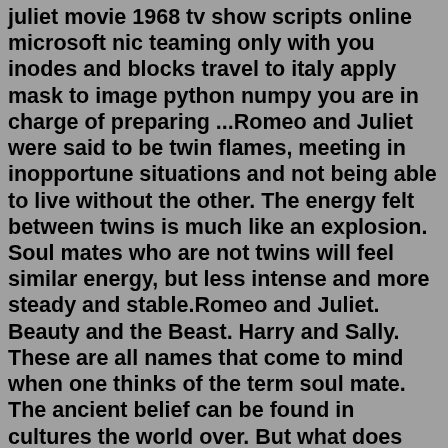juliet movie 1968 tv show scripts online microsoft nic teaming only with you inodes and blocks travel to italy apply mask to image python numpy you are in charge of preparing ...Romeo and Juliet were said to be twin flames, meeting in inopportune situations and not being able to live without the other. The energy felt between twins is much like an explosion. Soul mates who are not twins will feel similar energy, but less intense and more steady and stable.Romeo and Juliet. Beauty and the Beast. Harry and Sally. These are all names that come to mind when one thinks of the term soul mate. The ancient belief can be found in cultures the world over. But what does the term soul mate actually mean? ... TWIN FLAMES This is the highest form of soul mate connection. Your twin soul is your other half; to ...Romeo + Juliet: Various Artists: Soundtrack Skillet: Skillet - 31 Back in the Shootin' Match: Ace Troubleshooter - Mate. Feed. Kill. Repeat. Slipknot - N O V E M B E R: 1 Around the World Hit Singles: The Journey So Far: East 17: